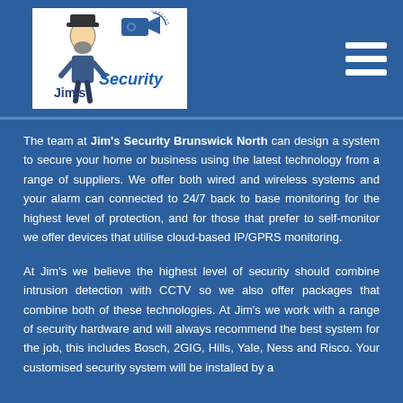[Figure (logo): Jim's Security logo — illustration of a man with a beard wearing a hat, with a security camera graphic and the text "Jim's Security" in blue]
The team at Jim's Security Brunswick North can design a system to secure your home or business using the latest technology from a range of suppliers. We offer both wired and wireless systems and your alarm can connected to 24/7 back to base monitoring for the highest level of protection, and for those that prefer to self-monitor we offer devices that utilise cloud-based IP/GPRS monitoring.
At Jim's we believe the highest level of security should combine intrusion detection with CCTV so we also offer packages that combine both of these technologies. At Jim's we work with a range of security hardware and will always recommend the best system for the job, this includes Bosch, 2GIG, Hills, Yale, Ness and Risco. Your customised security system will be installed by a